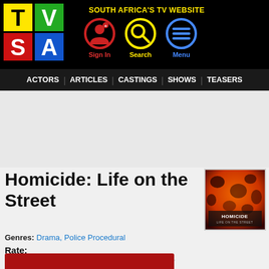SOUTH AFRICA'S TV WEBSITE
[Figure (logo): TVSA logo — colorful block letters T, V, S, A on black background]
[Figure (infographic): Sign In icon (red circle with person+plus), Search icon (yellow circle with magnifying glass), Menu icon (blue circle with three lines)]
ACTORS | ARTICLES | CASTINGS | SHOWS | TEASERS
Homicide: Life on the Street
[Figure (photo): Show thumbnail: orange/red background with dark spots, text reads HOMICIDE LIFE ON THE STREET]
Genres: Drama, Police Procedural
Rate:
[Figure (infographic): Row of 10 empty star rating icons]